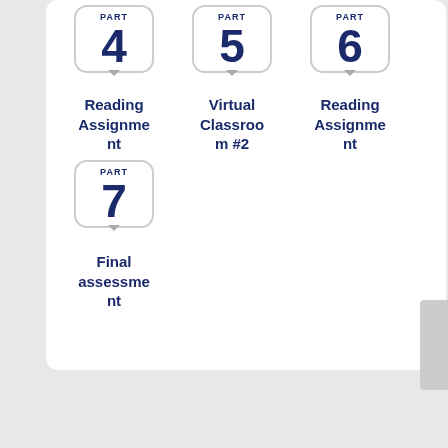[Figure (infographic): Course part badge showing PART 4 with bracket icon, labeled Reading Assignment]
Reading Assignment
[Figure (infographic): Course part badge showing PART 5 with bracket icon, labeled Virtual Classroom #2]
Virtual Classroom #2
[Figure (infographic): Course part badge showing PART 6 with bracket icon, labeled Reading Assignment]
Reading Assignment
[Figure (infographic): Course part badge showing PART 7 with bracket icon, labeled Final assessment]
Final assessment